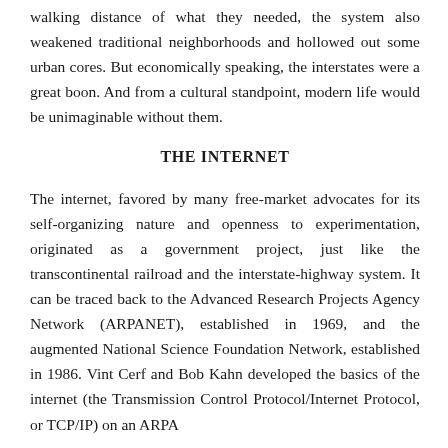walking distance of what they needed, the system also weakened traditional neighborhoods and hollowed out some urban cores. But economically speaking, the interstates were a great boon. And from a cultural standpoint, modern life would be unimaginable without them.
THE INTERNET
The internet, favored by many free-market advocates for its self-organizing nature and openness to experimentation, originated as a government project, just like the transcontinental railroad and the interstate-highway system. It can be traced back to the Advanced Research Projects Agency Network (ARPANET), established in 1969, and the augmented National Science Foundation Network, established in 1986. Vint Cerf and Bob Kahn developed the basics of the internet (the Transmission Control Protocol/Internet Protocol, or TCP/IP) on an ARPA